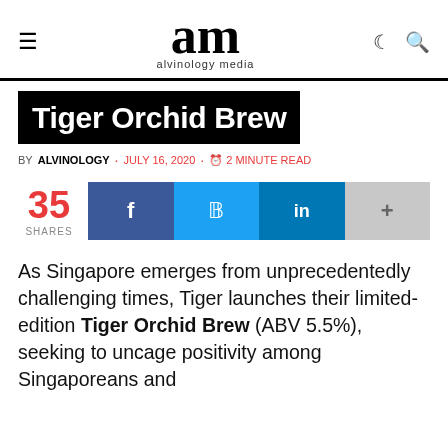am alvinology media
Tiger Orchid Brew
BY ALVINOLOGY · JULY 16, 2020 · 2 MINUTE READ
35 SHARES
As Singapore emerges from unprecedentedly challenging times, Tiger launches their limited-edition Tiger Orchid Brew (ABV 5.5%), seeking to uncage positivity among Singaporeans and